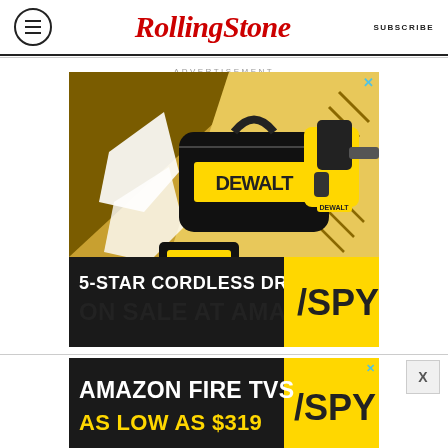Rolling Stone | SUBSCRIBE
ADVERTISEMENT
[Figure (photo): DeWalt advertisement showing a DeWalt branded tool bag, cordless drill, battery pack, and charger on a yellow and gold geometric background with the text '5-STAR CORDLESS DRILL ON SALE AT AMAZON' and SPY logo]
[Figure (photo): SPY advertisement with text 'AMAZON FIRE TVS AS LOW AS $319' on dark background with yellow SPY logo panel]